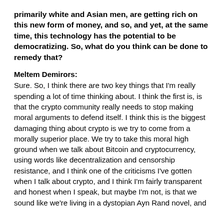primarily white and Asian men, are getting rich on this new form of money, and so, and yet, at the same time, this technology has the potential to be democratizing. So, what do you think can be done to remedy that?
Meltem Demirors:
Sure. So, I think there are two key things that I'm really spending a lot of time thinking about. I think the first is, is that the crypto community really needs to stop making moral arguments to defend itself. I think this is the biggest damaging thing about crypto is we try to come from a morally superior place. We try to take this moral high ground when we talk about Bitcoin and cryptocurrency, using words like decentralization and censorship resistance, and I think one of the criticisms I've gotten when I talk about crypto, and I think I'm fairly transparent and honest when I speak, but maybe I'm not, is that we sound like we're living in a dystopian Ayn Rand novel, and